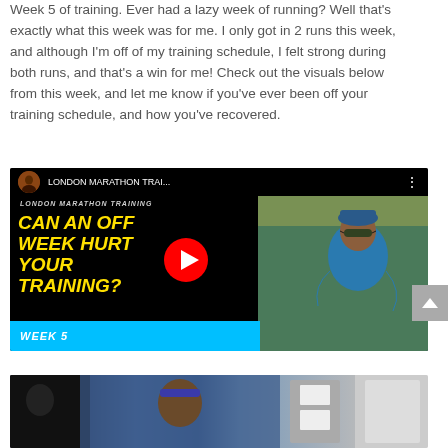Week 5 of training. Ever had a lazy week of running? Well that's exactly what this week was for me. I only got in 2 runs this week, and although I'm off of my training schedule, I felt strong during both runs, and that's a win for me! Check out the visuals below from this week, and let me know if you've ever been off your training schedule, and how you've recovered.
[Figure (screenshot): YouTube video thumbnail for 'London Marathon Training - Can An Off Week Hurt Your Training? Week 5'. Left side shows bold yellow italic text on dark background reading 'CAN AN OFF WEEK HURT YOUR TRAINING?' with a cyan bottom bar reading 'WEEK 5'. Right side shows a woman in athletic gear with sunglasses and hat. A red YouTube play button is overlaid in the center.]
[Figure (photo): Partial photo at the bottom of the page showing a person in athletic wear with a blue headband, alongside other people, with what appears to be sports-related signage in the background.]